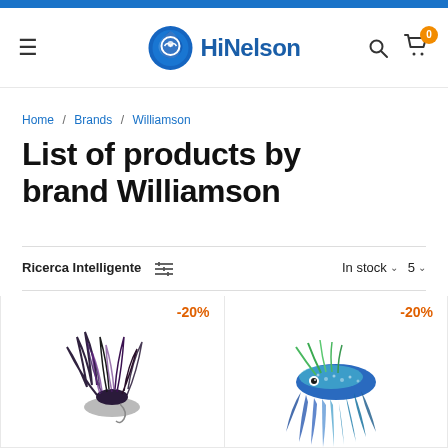HiNelson — site header with logo, hamburger menu, search and cart icons
Home / Brands / Williamson
List of products by brand Williamson
Ricerca Intelligente  In stock  5
[Figure (photo): Fishing lure product card with -20% discount badge, dark feathered lure on white background]
[Figure (photo): Fishing lure product card with -20% discount badge, colorful squid-style lure in blue/teal on white background]